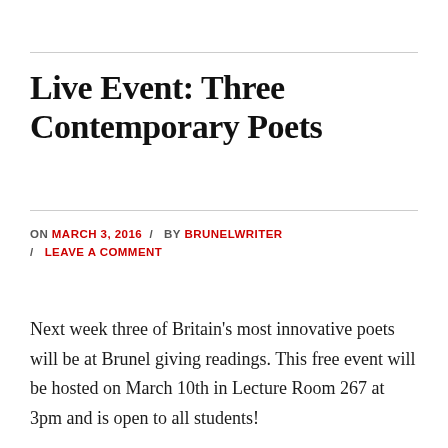Live Event: Three Contemporary Poets
ON MARCH 3, 2016 / BY BRUNELWRITER / LEAVE A COMMENT
Next week three of Britain's most innovative poets will be at Brunel giving readings. This free event will be hosted on March 10th in Lecture Room 267 at 3pm and is open to all students!